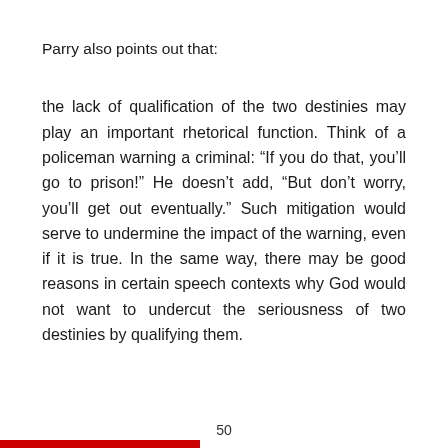Parry also points out that:
the lack of qualification of the two destinies may play an important rhetorical function. Think of a policeman warning a criminal: “If you do that, you’ll go to prison!” He doesn’t add, “But don’t worry, you’ll get out eventually.” Such mitigation would serve to undermine the impact of the warning, even if it is true. In the same way, there may be good reasons in certain speech contexts why God would not want to undercut the seriousness of two destinies by qualifying them.
50